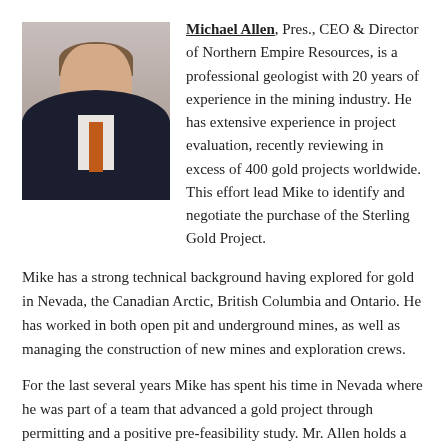[Figure (photo): Professional headshot of Michael Allen, a man in a dark suit with an orange tie and white shirt, against a light background.]
Michael Allen, Pres., CEO & Director of Northern Empire Resources, is a professional geologist with 20 years of experience in the mining industry. He has extensive experience in project evaluation, recently reviewing in excess of 400 gold projects worldwide. This effort lead Mike to identify and negotiate the purchase of the Sterling Gold Project.
Mike has a strong technical background having explored for gold in Nevada, the Canadian Arctic, British Columbia and Ontario. He has worked in both open pit and underground mines, as well as managing the construction of new mines and exploration crews.
For the last several years Mike has spent his time in Nevada where he was part of a team that advanced a gold project through permitting and a positive pre-feasibility study. Mr. Allen holds a Bachelor of Science degree in geology from the University of Alberta.
Michael Oliver entered the financial services